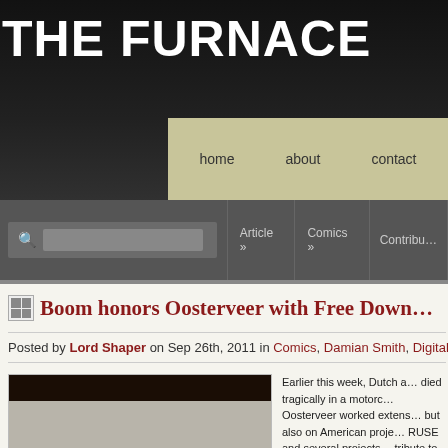THE FURNACE
home  about  contact
Article »  Comics »  Contribu…
Boom honors Oosterveer with Free Down…
Posted by Lord Shaper on Sep 26th, 2011 in Comics, Damian Smith, Digital Comics | …
[Figure (photo): Article image with dark top bar showing comic book artwork]
Earlier this week, Dutch a… died tragically in a motorc… Oosterveer worked extens… but also on American proje… RUSE and several projects… tribute to his work, BOOM… Mark Waid and Oostervee… and THE UNKNOWN: DI… for free via comiXology…